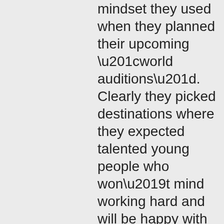mindset they used when they planned their upcoming “world auditions”. Clearly they picked destinations where they expected talented young people who won’t mind working hard and will be happy with just “becoming world class entertainers” but basically it would be hard for them to flee